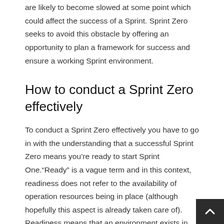are likely to become slowed at some point which could affect the success of a Sprint. Sprint Zero seeks to avoid this obstacle by offering an opportunity to plan a framework for success and ensure a working Sprint environment.
How to conduct a Sprint Zero effectively
To conduct a Sprint Zero effectively you have to go in with the understanding that a successful Sprint Zero means you’re ready to start Sprint One.“Ready” is a vague term and in this context, readiness does not refer to the availability of operation resources being in place (although hopefully this aspect is already taken care of). Readiness means that an environment exists in whic